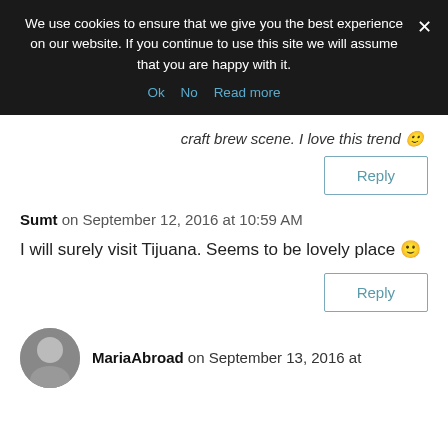We use cookies to ensure that we give you the best experience on our website. If you continue to use this site we will assume that you are happy with it.
Ok  No  Read more
craft brew scene. I love this trend 🙂
Reply
Sumt on September 12, 2016 at 10:59 AM
I will surely visit Tijuana. Seems to be lovely place 🙂
Reply
MariaAbroad on September 13, 2016 at